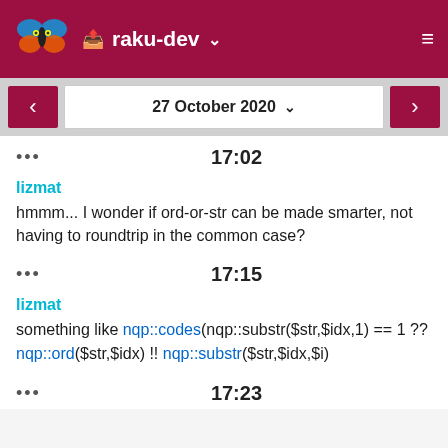raku-dev
27 October 2020
... 17:02
lizmat
hmmm... I wonder if ord-or-str can be made smarter, not having to roundtrip in the common case?
... 17:15
lizmat
something like nqp::codes(nqp::substr($str,$idx,1) == 1 ?? nqp::ord($str,$idx) !! nqp::substr($str,$idx,$i)
... 17:23